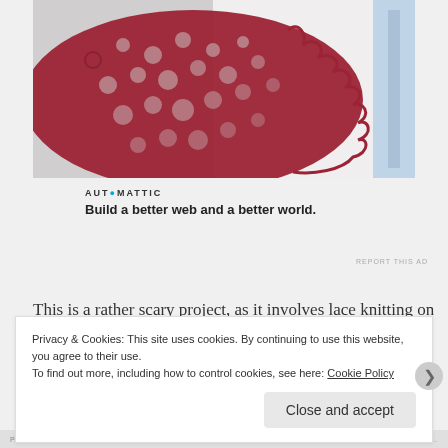[Figure (photo): Close-up photograph of red lace knitting/crochet work laid flat, showing intricate lacework pattern with holes, against a white background. The lace has a scalloped edge on the right side.]
[Figure (logo): Automattic logo with tagline: Build a better web and a better world.]
REPORT THIS AD
This is a rather scary project, as it involves lace knitting on
Privacy & Cookies: This site uses cookies. By continuing to use this website, you agree to their use.
To find out more, including how to control cookies, see here: Cookie Policy
Close and accept